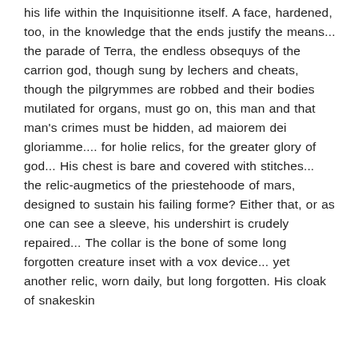his life within the Inquisitionne itself. A face, hardened, too, in the knowledge that the ends justify the means... the parade of Terra, the endless obsequys of the carrion god, though sung by lechers and cheats, though the pilgrymmes are robbed and their bodies mutilated for organs, must go on, this man and that man's crimes must be hidden, ad maiorem dei gloriamme.... for holie relics, for the greater glory of god... His chest is bare and covered with stitches... the relic-augmetics of the priestehoode of mars, designed to sustain his failing forme? Either that, or as one can see a sleeve, his undershirt is crudely repaired... The collar is the bone of some long forgotten creature inset with a vox device... yet another relic, worn daily, but long forgotten. His cloak of snakeskin